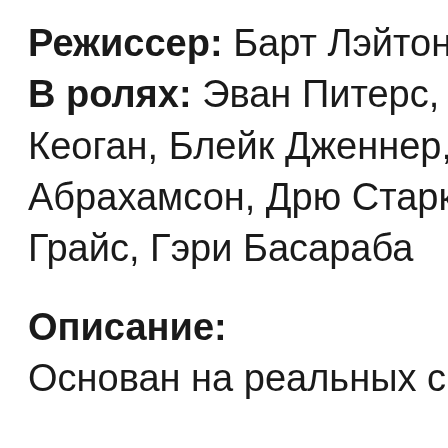Режиссер: Барт Лэйтон
В ролях: Эван Питерс, Кеоган, Блейк Дженнер, Абрахамсон, Дрю Старки Грайс, Гэри Басараба
Описание:
Основан на реальных с